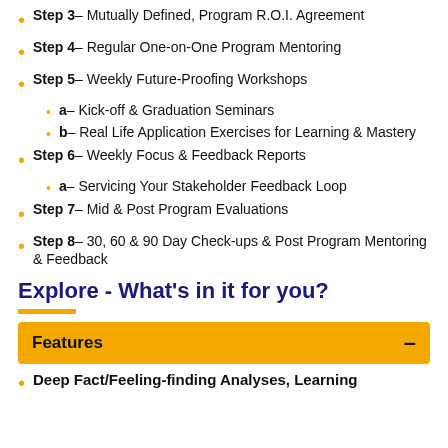Step 3– Mutually Defined, Program R.O.I. Agreement
Step 4– Regular One-on-One Program Mentoring
Step 5– Weekly Future-Proofing Workshops
a– Kick-off & Graduation Seminars
b– Real Life Application Exercises for Learning & Mastery
Step 6– Weekly Focus & Feedback Reports
a– Servicing Your Stakeholder Feedback Loop
Step 7– Mid & Post Program Evaluations
Step 8– 30, 60 & 90 Day Check-ups & Post Program Mentoring & Feedback
Explore - What's in it for you?
Features
Deep Fact/Feeling-finding Analyses, Learning